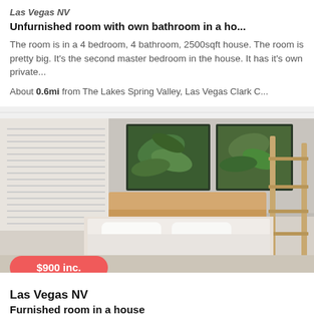Unfurnished room with own bathroom in a ho...
The room is in a 4 bedroom, 4 bathroom, 2500sqft house. The room is pretty big. It's the second master bedroom in the house. It has it's own private...
About 0.6mi from The Lakes Spring Valley, Las Vegas Clark C...
[Figure (photo): Photo of a furnished bedroom with a bed with white linens, two framed tropical leaf paintings on the wall, and a wooden ladder shelf. Price badge showing $900 inc.]
Las Vegas NV
Furnished room in a house
Its location is off Sahara and Cimarron, close to a bunch restaurants and grocery stores. The EOS gym